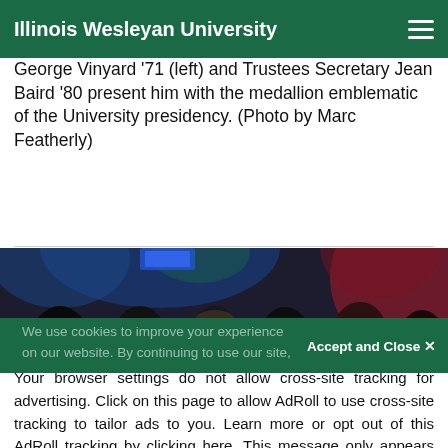Illinois Wesleyan University
George Vinyard '71 (left) and Trustees Secretary Jean Baird '80 present him with the medallion emblematic of the University presidency. (Photo by Marc Featherly)
[Figure (photo): Audience members seen from behind/side in a dimly lit venue with colorful stage lighting (blue, red, green).]
We use cookies to improve your experience on our website. By continuing to use our site,
Accept and Close ✕
Your browser settings do not allow cross-site tracking for advertising. Click on this page to allow AdRoll to use cross-site tracking to tailor ads to you. Learn more or opt out of this AdRoll tracking by clicking here. This message only appears once.